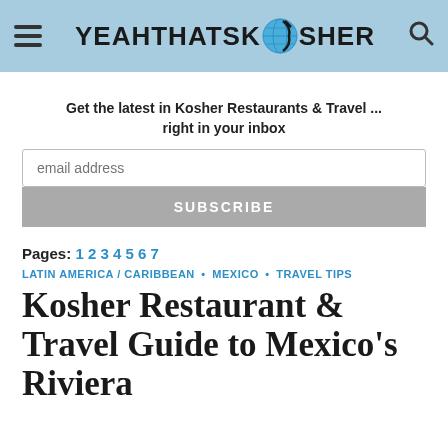YEAHTHATSKOSHER
Get the latest in Kosher Restaurants & Travel ... right in your inbox
email address
SUBSCRIBE
Pages: 1 2 3 4 5 6 7
LATIN AMERICA / CARIBBEAN • MEXICO • TRAVEL TIPS
Kosher Restaurant & Travel Guide to Mexico's Riviera